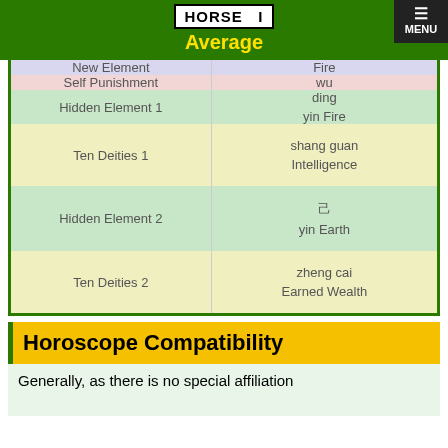HORSE — Average
|  |  |
| --- | --- |
| New Element | Fire |
| Self Punishment | wu |
| Hidden Element 1 | ding
yin Fire |
| Ten Deities 1 | shang guan
Intelligence |
| Hidden Element 2 | 己
yin Earth |
| Ten Deities 2 | zheng cai
Earned Wealth |
Horoscope Compatibility
Generally, as there is no special affiliation